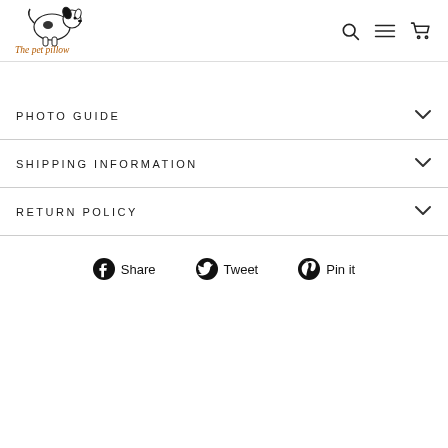The pet pillow — navigation header with logo, search, menu, cart icons
PHOTO GUIDE
SHIPPING INFORMATION
RETURN POLICY
Share  Tweet  Pin it